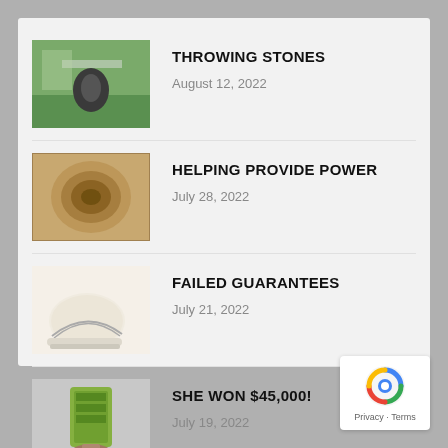THROWING STONES
August 12, 2022
HELPING PROVIDE POWER
July 28, 2022
FAILED GUARANTEES
July 21, 2022
SHE WON $45,000!
July 19, 2022
[Figure (logo): reCAPTCHA badge with Privacy and Terms links]